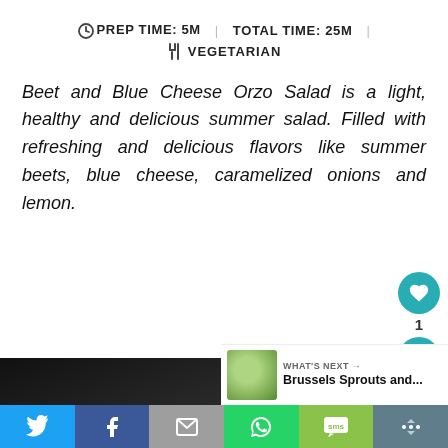PREP TIME: 5M  |  TOTAL TIME: 25M  |  VEGETARIAN
Beet and Blue Cheese Orzo Salad is a light, healthy and delicious summer salad. Filled with refreshing and delicious flavors like summer beets, blue cheese, caramelized onions and lemon.
[Figure (photo): Dark background photo of a dish, presumably the Beet and Blue Cheese Orzo Salad, with a white bowl visible]
[Figure (photo): WHAT'S NEXT thumbnail showing Brussels Sprouts recipe]
[Figure (infographic): Bottom social sharing bar with Twitter, Facebook, Email, WhatsApp, SMS and More buttons]